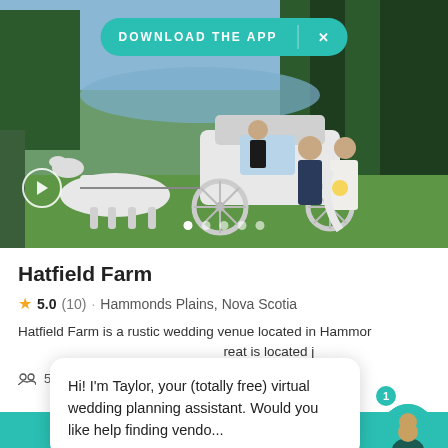[Figure (photo): Wedding scene: bride and groom standing beside a white horse-drawn carriage on a green lawn, with a lake and trees in the background.]
DOWNLOAD THE APP
Hatfield Farm
5.0 (10) · Hammonds Plains, Nova Scotia
Hatfield Farm is a rustic wedding venue located in Hammonds Plains, Nova Scotia. The retreat is located just...
50 to
Hi! I'm Taylor, your (totally free) virtual wedding planning assistant. Would you like help finding vendo...
Learn more